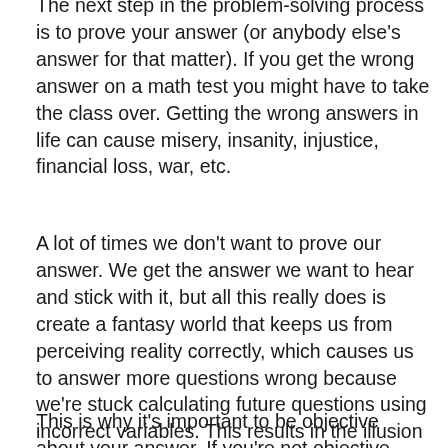The next step in the problem-solving process is to prove your answer (or anybody else's answer for that matter). If you get the wrong answer on a math test you might have to take the class over. Getting the wrong answers in life can cause misery, insanity, injustice, financial loss, war, etc.
A lot of times we don't want to prove our answer. We get the answer we want to hear and stick with it, but all this really does is create a fantasy world that keeps us from perceiving reality correctly, which causes us to answer more questions wrong because we're stuck calculating future questions using incorrect variables. This results in the illusion of a rosy world, but in reality, it only propagates a dystopian society.
This is why it's important to be objective about your answer. If you're not objective about your answer, the...